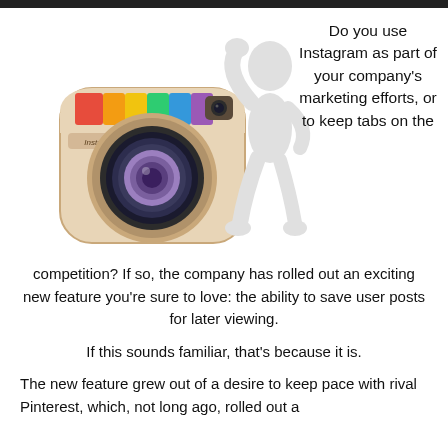[Figure (illustration): Instagram camera logo icon with a white 3D humanoid figure leaning against it, posing with one arm raised]
Do you use Instagram as part of your company's marketing efforts, or to keep tabs on the
competition? If so, the company has rolled out an exciting new feature you're sure to love: the ability to save user posts for later viewing.
If this sounds familiar, that's because it is.
The new feature grew out of a desire to keep pace with rival Pinterest, which, not long ago, rolled out a